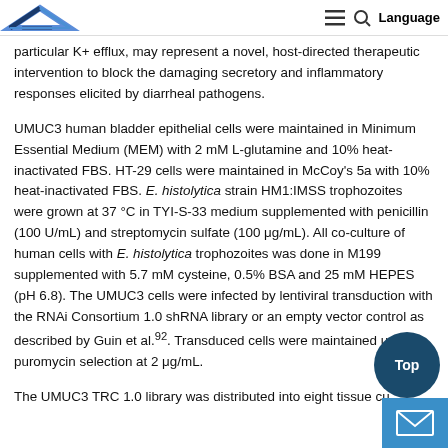Language
particular K+ efflux, may represent a novel, host-directed therapeutic intervention to block the damaging secretory and inflammatory responses elicited by diarrheal pathogens.
UMUC3 human bladder epithelial cells were maintained in Minimum Essential Medium (MEM) with 2 mM L-glutamine and 10% heat-inactivated FBS. HT-29 cells were maintained in McCoy’s 5a with 10% heat-inactivated FBS. E. histolytica strain HM1:IMSS trophozoites were grown at 37°C in TYI-S-33 medium supplemented with penicillin (100 U/mL) and streptomycin sulfate (100 μg/mL). All co-culture of human cells with E. histolytica trophozoites was done in M199 supplemented with 5.7 mM cysteine, 0.5% BSA and 25 mM HEPES (pH 6.8). The UMUC3 cells were infected by lentiviral transduction with the RNAi Consortium 1.0 shRNA library or an empty vector control as described by Guin et al.92. Transduced cells were maintained under puromycin selection at 2 μg/mL.
The UMUC3 TRC 1.0 library was distributed into eight tissue cu